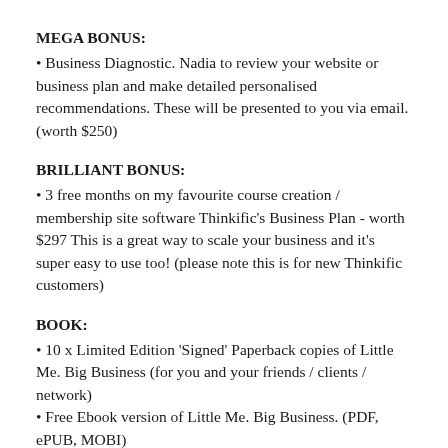MEGA BONUS:
• Business Diagnostic. Nadia to review your website or business plan and make detailed personalised recommendations. These will be presented to you via email. (worth $250)
BRILLIANT BONUS:
• 3 free months on my favourite course creation / membership site software Thinkific's Business Plan - worth $297 This is a great way to scale your business and it's super easy to use too! (please note this is for new Thinkific customers)
BOOK:
• 10 x Limited Edition 'Signed' Paperback copies of Little Me. Big Business (for you and your friends / clients / network)
• Free Ebook version of Little Me. Big Business. (PDF, ePUB, MOBI)